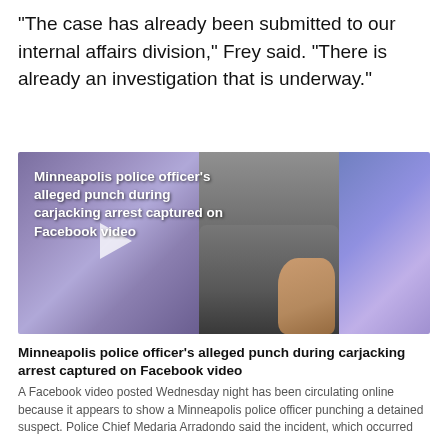"The case has already been submitted to our internal affairs division," Frey said. "There is already an investigation that is underway."
[Figure (screenshot): Video thumbnail showing Minneapolis police officers restraining a suspect on the ground, with a play button overlay on the left side. Text overlay reads: 'Minneapolis police officer’s alleged punch during carjacking arrest captured on Facebook video']
Minneapolis police officer’s alleged punch during carjacking arrest captured on Facebook video
A Facebook video posted Wednesday night has been circulating online because it appears to show a Minneapolis police officer punching a detained suspect. Police Chief Medaria Arradondo said the incident, which occurred